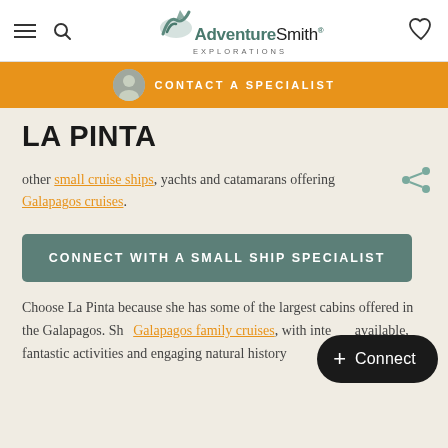AdventureSmith Explorations
CONTACT A SPECIALIST
LA PINTA
other small cruise ships, yachts and catamarans offering Galapagos cruises.
CONNECT WITH A SMALL SHIP SPECIALIST
Choose La Pinta because she has some of the largest cabins offered in the Galapagos. She Galapagos family cruises, with inte available, fantastic activities and engaging natural history
+ Connect